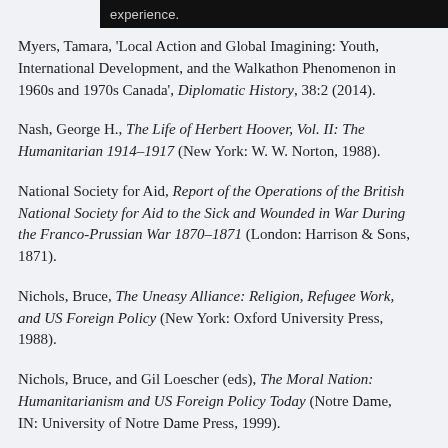experience.
Myers, Tamara, 'Local Action and Global Imagining: Youth, International Development, and the Walkathon Phenomenon in 1960s and 1970s Canada', Diplomatic History, 38:2 (2014).
Nash, George H., The Life of Herbert Hoover, Vol. II: The Humanitarian 1914–1917 (New York: W. W. Norton, 1988).
National Society for Aid, Report of the Operations of the British National Society for Aid to the Sick and Wounded in War During the Franco-Prussian War 1870–1871 (London: Harrison & Sons, 1871).
Nichols, Bruce, The Uneasy Alliance: Religion, Refugee Work, and US Foreign Policy (New York: Oxford University Press, 1988).
Nichols, Bruce, and Gil Loescher (eds), The Moral Nation: Humanitarianism and US Foreign Policy Today (Notre Dame, IN: University of Notre Dame Press, 1999).